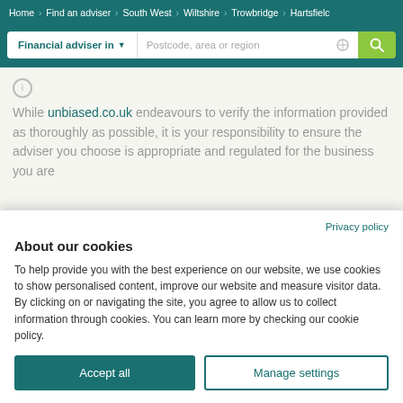Home > Find an adviser > South West > Wiltshire > Trowbridge > Hartsfield
[Figure (screenshot): Search bar with 'Financial adviser in' dropdown and 'Postcode, area or region' input field with geolocation icon and green search button]
While unbiased.co.uk endeavours to verify the information provided as thoroughly as possible, it is your responsibility to ensure the adviser you choose is appropriate and regulated for the business you are
Privacy policy
About our cookies
To help provide you with the best experience on our website, we use cookies to show personalised content, improve our website and measure visitor data. By clicking on or navigating the site, you agree to allow us to collect information through cookies. You can learn more by checking our cookie policy.
Accept all
Manage settings